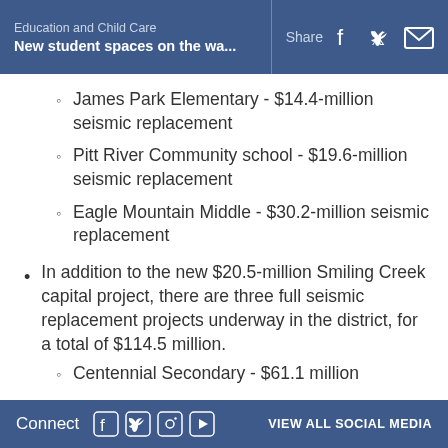Education and Child Care
New student spaces on the wa...
James Park Elementary - $14.4-million seismic replacement
Pitt River Community school - $19.6-million seismic replacement
Eagle Mountain Middle - $30.2-million seismic replacement
In addition to the new $20.5-million Smiling Creek capital project, there are three full seismic replacement projects underway in the district, for a total of $114.5 million.
Centennial Secondary - $61.1 million
Connect   VIEW ALL SOCIAL MEDIA